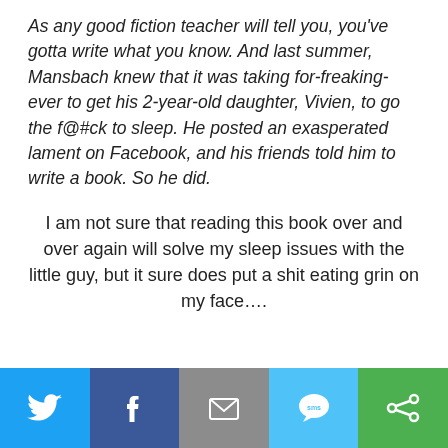As any good fiction teacher will tell you, you've gotta write what you know. And last summer, Mansbach knew that it was taking for-freaking-ever to get his 2-year-old daughter, Vivien, to go the f@#ck to sleep. He posted an exasperated lament on Facebook, and his friends told him to write a book. So he did.
I am not sure that reading this book over and over again will solve my sleep issues with the little guy, but it sure does put a shit eating grin on my face….
[Figure (infographic): Social sharing bar with five buttons: Twitter (blue bird icon), Facebook (dark blue f icon), Email (gray envelope icon), SMS (light blue speech bubble with SMS text), and a green share/rotation icon.]